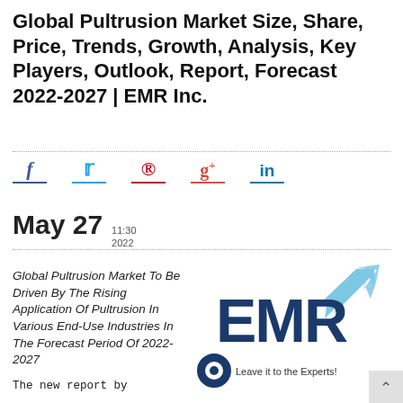Global Pultrusion Market Size, Share, Price, Trends, Growth, Analysis, Key Players, Outlook, Report, Forecast 2022-2027 | EMR Inc.
[Figure (infographic): Social media share icons: Facebook (f), Twitter (bird), Pinterest (P), Google+ (g+), LinkedIn (in), each with a colored underline bar]
May 27  11:30 2022
Global Pultrusion Market To Be Driven By The Rising Application Of Pultrusion In Various End-Use Industries In The Forecast Period Of 2022-2027
[Figure (logo): EMR Inc. logo with dark blue EMR letters, light blue upward arrow, circle icon and tagline 'Leave it to the Experts!']
The new report by